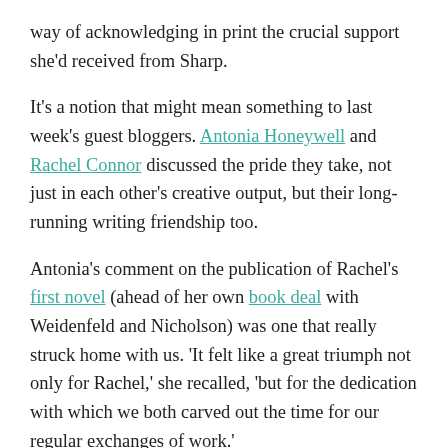way of acknowledging in print the crucial support she'd received from Sharp.
It's a notion that might mean something to last week's guest bloggers. Antonia Honeywell and Rachel Connor discussed the pride they take, not just in each other's creative output, but their long-running writing friendship too.
Antonia's comment on the publication of Rachel's first novel (ahead of her own book deal with Weidenfeld and Nicholson) was one that really struck home with us. 'It felt like a great triumph not only for Rachel,' she recalled, 'but for the dedication with which we both carved out the time for our regular exchanges of work.'
As we've mentioned before on Something Rhymed, our